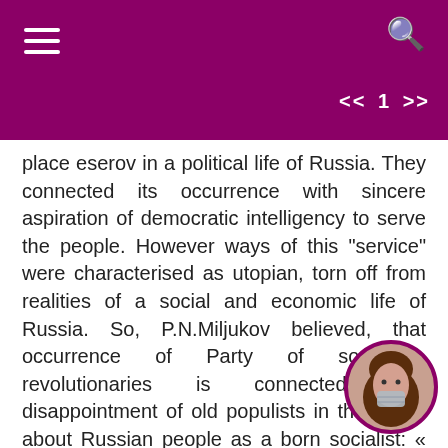place eserov in a political life of Russia. They connected its occurrence with sincere aspiration of democratic intelligency to serve the people. However ways of this "service" were characterised as utopian, torn off from realities of a social and economic life of Russia. So, P.N.Miljukov believed, that occurrence of Party of socialists-revolutionaries is connected with disappointment of old populists in the thesis about Russian people as a born socialist: « The state will not collapse from one spell of national spirit. Political reform should precede the social. The psychology of the won and disappointed revolutionaries-socialists of 80 and 90th years of last century met half-way conclusion »92. Esery, according to P.N.Miljukov differed from the predecessors that political